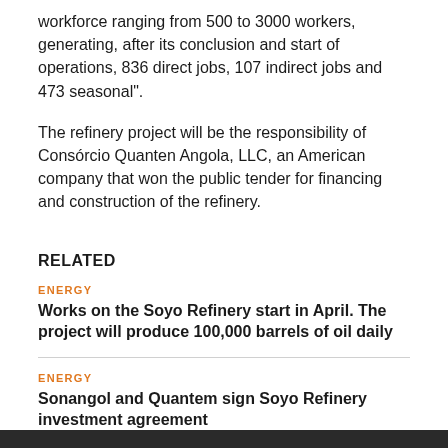workforce ranging from 500 to 3000 workers, generating, after its conclusion and start of operations, 836 direct jobs, 107 indirect jobs and 473 seasonal".
The refinery project will be the responsibility of Consórcio Quanten Angola, LLC, an American company that won the public tender for financing and construction of the refinery.
RELATED
ENERGY
Works on the Soyo Refinery start in April. The project will produce 100,000 barrels of oil daily
ENERGY
Sonangol and Quantem sign Soyo Refinery investment agreement